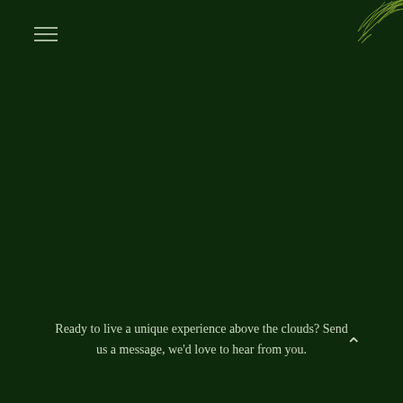[Figure (illustration): Decorative botanical leaf/fern illustration in light olive/lime outline style, positioned in top-right corner of dark green background]
[Figure (other): Hamburger menu icon (three horizontal lines) in muted green color, positioned top-left]
Ready to live a unique experience above the clouds? Send us a message, we'd love to hear from you.
[Figure (other): Upward chevron/caret scroll-to-top button in light color, positioned bottom-right]